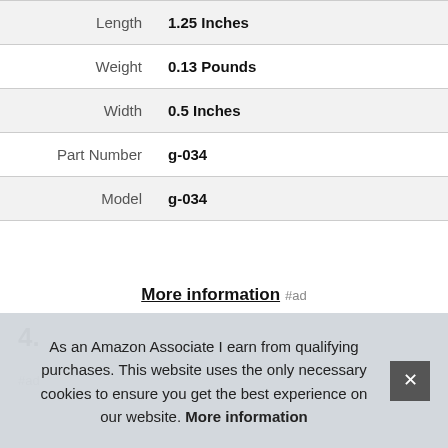| Attribute | Value |
| --- | --- |
| Length | 1.25 Inches |
| Weight | 0.13 Pounds |
| Width | 0.5 Inches |
| Part Number | g-034 |
| Model | g-034 |
More information #ad
4.
#ad
As an Amazon Associate I earn from qualifying purchases. This website uses the only necessary cookies to ensure you get the best experience on our website. More information